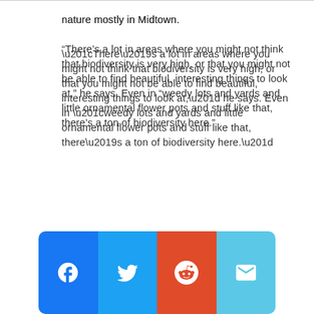nature mostly in Midtown.
“There’s a lot in areas where you might not think that biodiversity is very high, or that you might not be able to find beautiful, interesting things to look at,” he says. Even in “weedy lots and yards and little ornamental flower pots and stuff like that, there’s a ton of biodiversity here.”
[Figure (other): Social sharing bar with four buttons: Facebook (blue), Twitter (light blue), Reddit (red/orange), Email (light blue)]